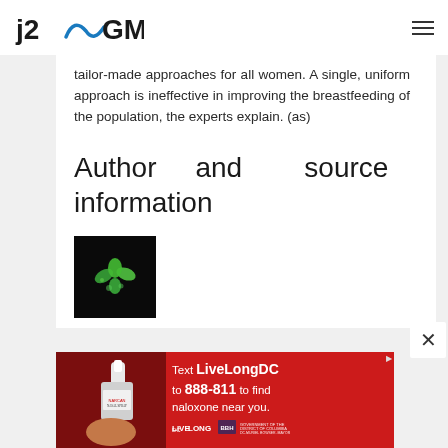[Figure (logo): j2 GMN logo with blue wave/swoosh element]
tailor-made approaches for all women. A single, uniform approach is ineffective in improving the breastfeeding of the population, the experts explain. (as)
Author and source information
[Figure (photo): Small dark square image showing a green plant/sprout graphic on black background]
[Figure (photo): Advertisement banner: Text LiveLongDC to 888-811 to find naloxone near you. Red background with photo of nasal spray.]